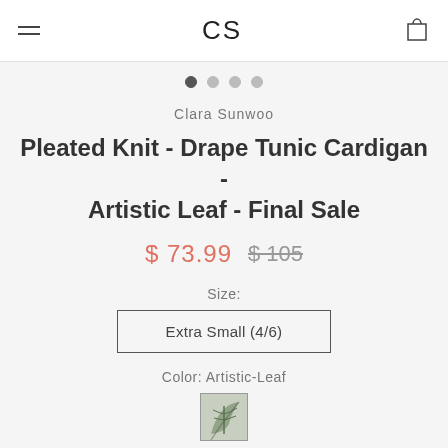CS
Clara Sunwoo
Pleated Knit - Drape Tunic Cardigan - Artistic Leaf - Final Sale
$ 73.99   $ 105
Size:
Extra Small (4/6)
Color: Artistic-Leaf